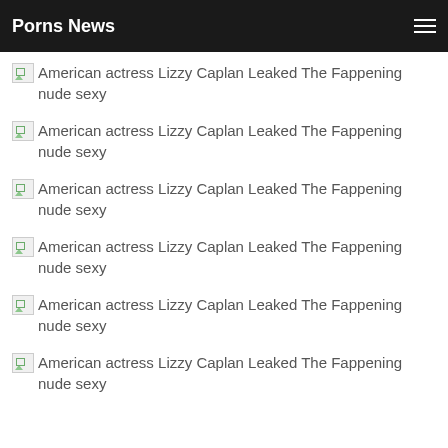Porns News
American actress Lizzy Caplan Leaked The Fappening nude sexy
American actress Lizzy Caplan Leaked The Fappening nude sexy
American actress Lizzy Caplan Leaked The Fappening nude sexy
American actress Lizzy Caplan Leaked The Fappening nude sexy
American actress Lizzy Caplan Leaked The Fappening nude sexy
American actress Lizzy Caplan Leaked The Fappening nude sexy